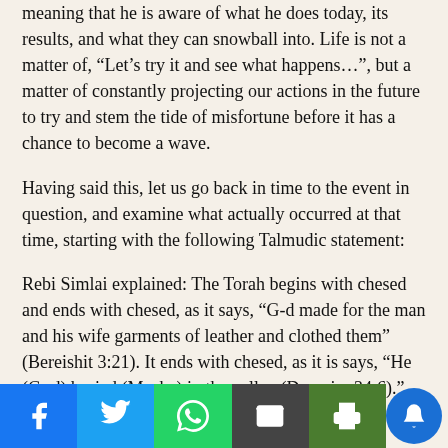meaning that he is aware of what he does today, its results, and what they can snowball into. Life is not a matter of, “Let’s try it and see what happens…”, but a matter of constantly projecting our actions in the future to try and stem the tide of misfortune before it has a chance to become a wave.
Having said this, let us go back in time to the event in question, and examine what actually occurred at that time, starting with the following Talmudic statement:
Rebi Simlai explained: The Torah begins with chesed and ends with chesed, as it says, “G-d made for the man and his wife garments of leather and clothed them” (Bereishit 3:21). It ends with chesed, as it is says, “He (G- d) buried (Moshe) in the valley (Devarim 34:6).” (Sotah 14a)
Of all the acts of chesed Moshe performed, only one is called a chesed shel emet (true-kindness). It was for this act, according to the Talmud, that G-d rewarded and honored Moshe by ... the Talmud states that when the Jewish nation was busy collecting spoils from the Egyptian people, just